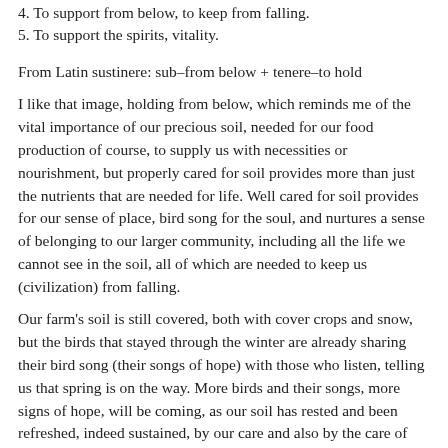4. To support from below, to keep from falling.
5. To support the spirits, vitality.
From Latin sustinere: sub–from below + tenere–to hold
I like that image, holding from below, which reminds me of the vital importance of our precious soil, needed for our food production of course, to supply us with necessities or nourishment, but properly cared for soil provides more than just the nutrients that are needed for life. Well cared for soil provides for our sense of place, bird song for the soul, and nurtures a sense of belonging to our larger community, including all the life we cannot see in the soil, all of which are needed to keep us (civilization) from falling.
Our farm's soil is still covered, both with cover crops and snow, but the birds that stayed through the winter are already sharing their bird song (their songs of hope) with those who listen, telling us that spring is on the way. More birds and their songs, more signs of hope, will be coming, as our soil has rested and been refreshed, indeed sustained, by our care and also by the care of the larger forces, to nourish